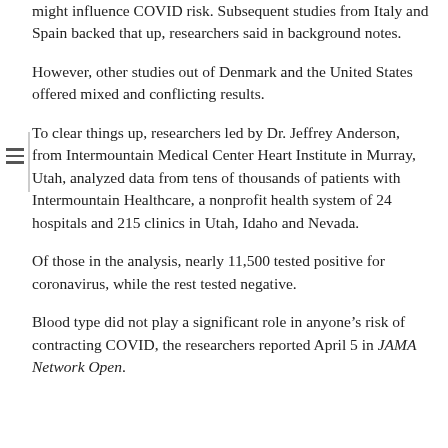might influence COVID risk. Subsequent studies from Italy and Spain backed that up, researchers said in background notes.
However, other studies out of Denmark and the United States offered mixed and conflicting results.
To clear things up, researchers led by Dr. Jeffrey Anderson, from Intermountain Medical Center Heart Institute in Murray, Utah, analyzed data from tens of thousands of patients with Intermountain Healthcare, a nonprofit health system of 24 hospitals and 215 clinics in Utah, Idaho and Nevada.
Of those in the analysis, nearly 11,500 tested positive for coronavirus, while the rest tested negative.
Blood type did not play a significant role in anyone’s risk of contracting COVID, the researchers reported April 5 in JAMA Network Open.